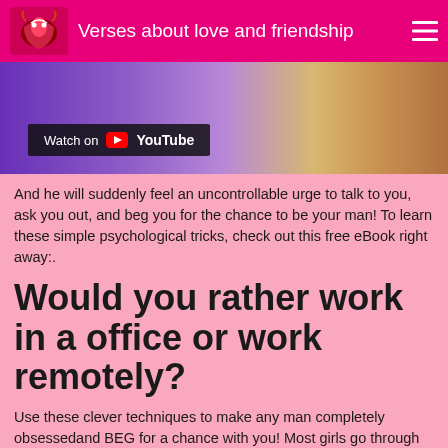Verses about love and friendship
[Figure (screenshot): YouTube video embed placeholder showing a purple and skin-toned background with a 'Watch on YouTube' badge overlay]
And he will suddenly feel an uncontrollable urge to talk to you, ask you out, and beg you for the chance to be your man! To learn these simple psychological tricks, check out this free eBook right away:.
Would you rather work in a office or work remotely?
Use these clever techniques to make any man completely obsessedand BEG for a chance with you! Most girls go through their whole lives without knowing what actually makes guys fall in love. They get crushes on amazing guys, only to be ignored by them as they go for younger,